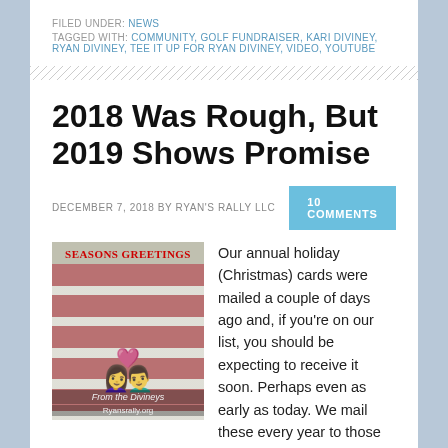FILED UNDER: NEWS
TAGGED WITH: COMMUNITY, GOLF FUNDRAISER, KARI DIVINEY, RYAN DIVINEY, TEE IT UP FOR RYAN DIVINEY, VIDEO, YOUTUBE
2018 Was Rough, But 2019 Shows Promise
DECEMBER 7, 2018 BY RYAN'S RALLY LLC
10 COMMENTS
[Figure (photo): Holiday card photo showing two people with an American flag background, labeled 'SEASONS GREETINGS' and 'From the Divineys' with Ryansrally.org at the bottom]
Our annual holiday (Christmas) cards were mailed a couple of days ago and, if you're on our list, you should be expecting to receive it soon. Perhaps even as early as today. We mail these every year to those who helped